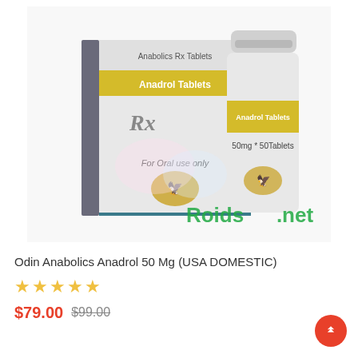[Figure (photo): Product photo showing Odin Anabolics Anadrol 50 Mg tablets — a box and a white bottle with yellow label band reading 'Anadrol Tablets', '50mg * 50 Tablets', with a German eagle emblem and 'For Oral use only' text. Watermark reads 'Roids.net'.]
Odin Anabolics Anadrol 50 Mg (USA DOMESTIC)
★★★★★
$79.00  $99.00